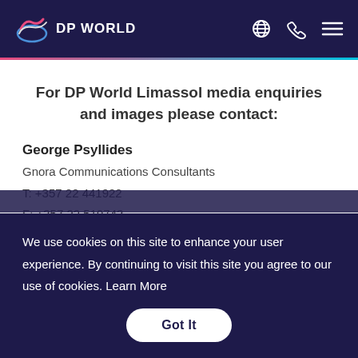DP WORLD
For DP World Limassol media enquiries and images please contact:
George Psyllides
Gnora Communications Consultants
T: +357 22 441922
F: +357 22 519743
We use cookies on this site to enhance your user experience. By continuing to visit this site you agree to our use of cookies. Learn More
Got It